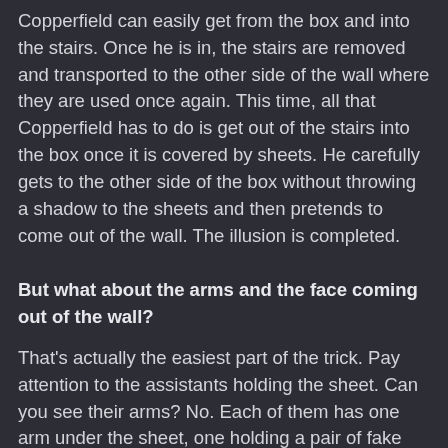Copperfield can easily get from the box and into the stairs. Once he is in, the stairs are removed and transported to the other side of the wall where they are used once again. This time, all that Copperfield has to do is get out of the stairs into the box once it is covered by sheets. He carefully gets to the other side of the box without throwing a shadow to the sheets and then pretends to come out of the wall. The illusion is completed.
But what about the arms and the face coming out of the wall?
That's actually the easiest part of the trick. Pay attention to the assistants holding the sheet. Can you see their arms? No. Each of them has one arm under the sheet, one holding a pair of fake hands and the other holding a mask. They press their props against the sheet, creating an illusion of Copperfield trying to come through.